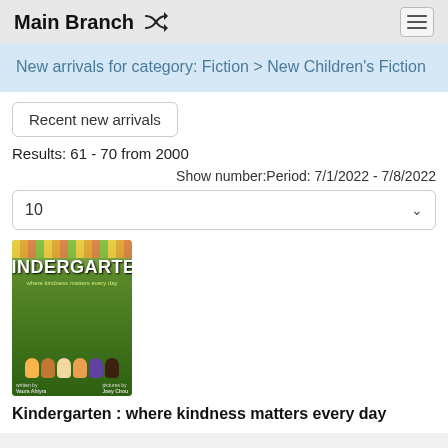Main Branch
New arrivals for category: Fiction > New Children's Fiction
Recent new arrivals
Results: 61 - 70 from 2000
Show number:Period: 7/1/2022 - 7/8/2022
10
[Figure (illustration): Book cover for 'Kindergarten: where kindness matters every day' showing cartoon children and colorful flowers]
Kindergarten : where kindness matters every day